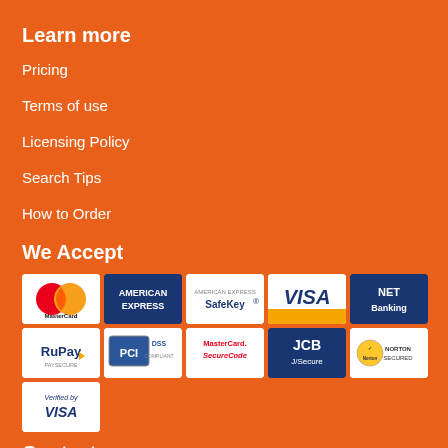Learn more
Pricing
Terms of use
Licensing Policy
Search Tips
How to Order
We Accept
[Figure (infographic): Payment method logos: MasterCard, American Express, American Express SafeKey, VISA, NET Banking, RuPay PaySecure, PCI DSS, MasterCard SecureCode, JCB J/Secure, Norton Secured, Verified by VISA]
Contact
F-124, Mohammadpur